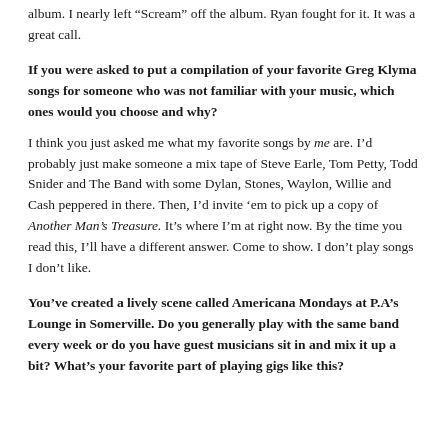album. I nearly left “Scream” off the album. Ryan fought for it. It was a great call.
If you were asked to put a compilation of your favorite Greg Klyma songs for someone who was not familiar with your music, which ones would you choose and why?
I think you just asked me what my favorite songs by me are. I’d probably just make someone a mix tape of Steve Earle, Tom Petty, Todd Snider and The Band with some Dylan, Stones, Waylon, Willie and Cash peppered in there. Then, I’d invite ‘em to pick up a copy of Another Man’s Treasure. It’s where I’m at right now. By the time you read this, I’ll have a different answer. Come to show. I don’t play songs I don’t like.
You’ve created a lively scene called Americana Mondays at P.A’s Lounge in Somerville. Do you generally play with the same band every week or do you have guest musicians sit in and mix it up a bit? What’s your favorite part of playing gigs like this?